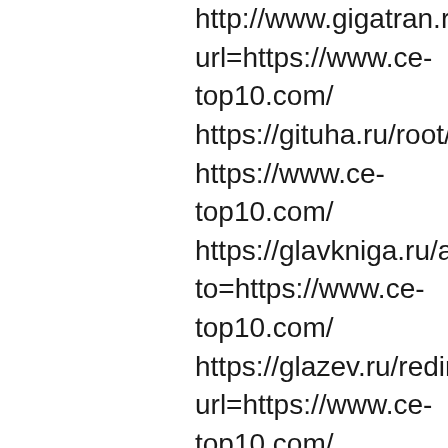http://www.gigatran.ru url=https://www.ce-top10.com/ https://gituha.ru/root/re https://www.ce-top10.com/ https://glavkniga.ru/aw to=https://www.ce-top10.com/ https://glazev.ru/redirec url=https://www.ce-top10.com/